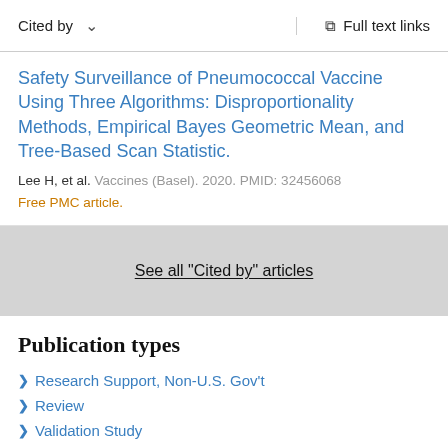Cited by   ∨   Full text links
Safety Surveillance of Pneumococcal Vaccine Using Three Algorithms: Disproportionality Methods, Empirical Bayes Geometric Mean, and Tree-Based Scan Statistic.
Lee H, et al. Vaccines (Basel). 2020. PMID: 32456068
Free PMC article.
See all "Cited by" articles
Publication types
Research Support, Non-U.S. Gov't
Review
Validation Study